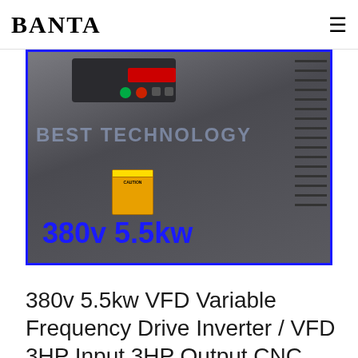BANTA
[Figure (photo): A VFD (Variable Frequency Drive) inverter unit, dark grey enclosure with control panel featuring red LED display, green and red buttons, and ventilation fins on the right side. A yellow caution label is on the lower front. Text '380v 5.5kw' in bold blue overlaid at the bottom left. 'BEST TECHNOLOGY' watermark overlaid in light blue. Blue border frame around the image.]
380v 5.5kw VFD Variable Frequency Drive Inverter / VFD 3HP Input 3HP Output CNC spindle